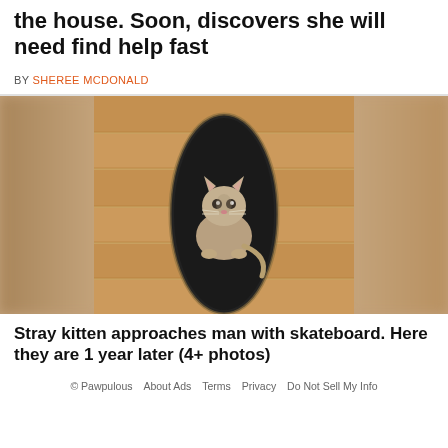the house. Soon, discovers she will need find help fast
BY SHEREE MCDONALD
[Figure (photo): A small fluffy kitten sitting on a dark skateboard on a wooden floor, looking up at the camera.]
Stray kitten approaches man with skateboard. Here they are 1 year later (4+ photos)
© Pawpulous   About Ads   Terms   Privacy   Do Not Sell My Info